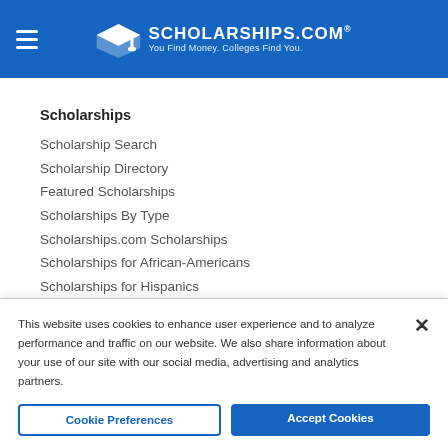SCHOLARSHIPS.COM® — You Find Money. Colleges Find You.
Scholarships
Scholarship Search
Scholarship Directory
Featured Scholarships
Scholarships By Type
Scholarships.com Scholarships
Scholarships for African-Americans
Scholarships for Hispanics
Scholarships for Latinos
Scholarships for First In Family
This website uses cookies to enhance user experience and to analyze performance and traffic on our website. We also share information about your use of our site with our social media, advertising and analytics partners.